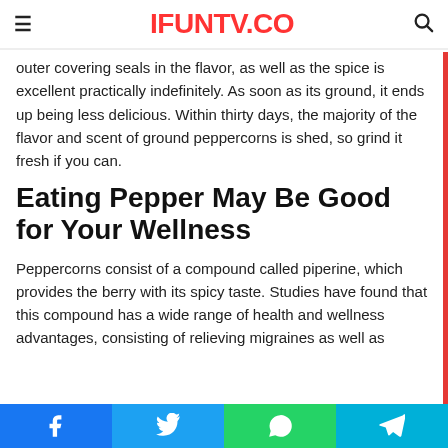IFUNTV.CO
outer covering seals in the flavor, as well as the spice is excellent practically indefinitely. As soon as its ground, it ends up being less delicious. Within thirty days, the majority of the flavor and scent of ground peppercorns is shed, so grind it fresh if you can.
Eating Pepper May Be Good for Your Wellness
Peppercorns consist of a compound called piperine, which provides the berry with its spicy taste. Studies have found that this compound has a wide range of health and wellness advantages, consisting of relieving migraines as well as
Facebook | Twitter | WhatsApp | Telegram